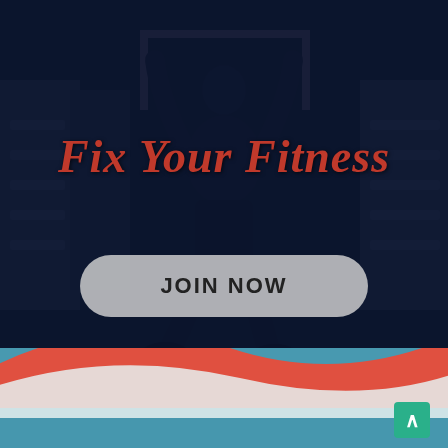[Figure (photo): Dark gym background with a person jumping rope or exercising, dark blue overlay covering a gym scene]
Fix Your Fitness
JOIN NOW
[Figure (illustration): Decorative curved wave shape in red/coral color followed by white, over teal blue bottom bar with scroll-to-top arrow button]